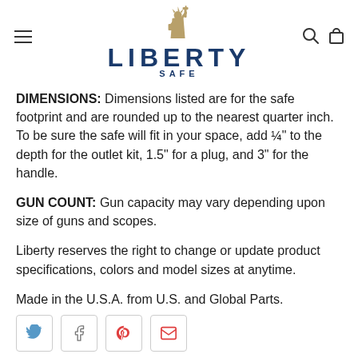Liberty Safe
DIMENSIONS: Dimensions listed are for the safe footprint and are rounded up to the nearest quarter inch. To be sure the safe will fit in your space, add ¼" to the depth for the outlet kit, 1.5" for a plug, and 3" for the handle.
GUN COUNT: Gun capacity may vary depending upon size of guns and scopes.
Liberty reserves the right to change or update product specifications, colors and model sizes at anytime.
Made in the U.S.A. from U.S. and Global Parts.